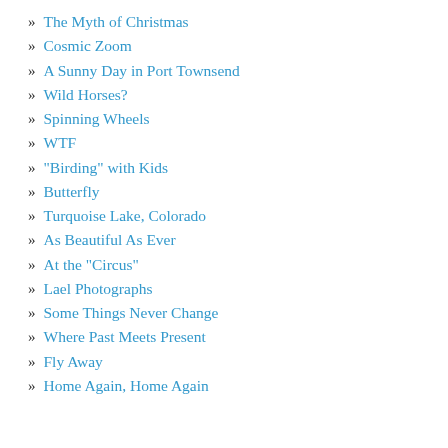» The Myth of Christmas
» Cosmic Zoom
» A Sunny Day in Port Townsend
» Wild Horses?
» Spinning Wheels
» WTF
» "Birding" with Kids
» Butterfly
» Turquoise Lake, Colorado
» As Beautiful As Ever
» At the "Circus"
» Lael Photographs
» Some Things Never Change
» Where Past Meets Present
» Fly Away
» Home Again, Home Again